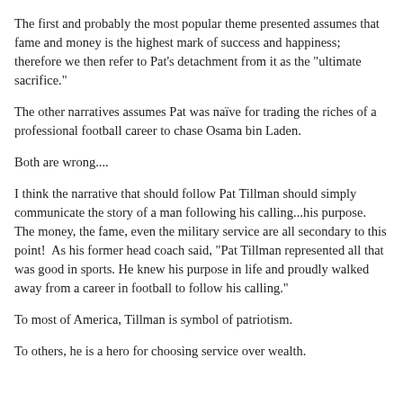The first and probably the most popular theme presented assumes that fame and money is the highest mark of success and happiness; therefore we then refer to Pat's detachment from it as the "ultimate sacrifice."
The other narratives assumes Pat was naïve for trading the riches of a professional football career to chase Osama bin Laden.
Both are wrong....
I think the narrative that should follow Pat Tillman should simply communicate the story of a man following his calling...his purpose. The money, the fame, even the military service are all secondary to this point!  As his former head coach said, "Pat Tillman represented all that was good in sports. He knew his purpose in life and proudly walked away from a career in football to follow his calling."
To most of America, Tillman is symbol of patriotism.
To others, he is a hero for choosing service over wealth.